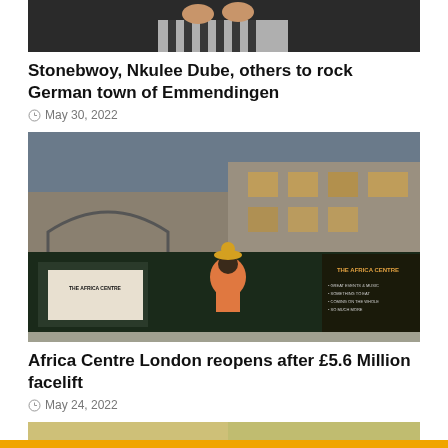[Figure (photo): Cropped top portion showing hands holding something, black and white striped clothing visible at top of the page]
Stonebwoy, Nkulee Dube, others to rock German town of Emmendingen
May 30, 2022
[Figure (photo): Africa Centre building exterior with large colorful mural/artwork panels featuring illustrated figures. Signs read THE AFRICA CENTRE. Located at what appears to be a London market or arts venue with brick arch visible.]
Africa Centre London reopens after £5.6 Million facelift
May 24, 2022
[Figure (photo): Partial view of a person's head with natural hair against a blurred outdoor background]